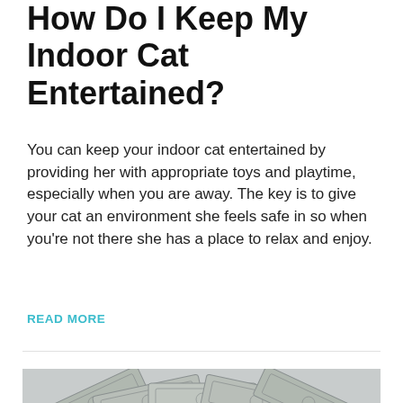How Do I Keep My Indoor Cat Entertained?
You can keep your indoor cat entertained by providing her with appropriate toys and playtime, especially when you are away. The key is to give your cat an environment she feels safe in so when you’re not there she has a place to relax and enjoy.
READ MORE
[Figure (photo): Photograph showing a stack of US dollar bills fanned out, in grayscale/desaturated tones against a light gray background.]